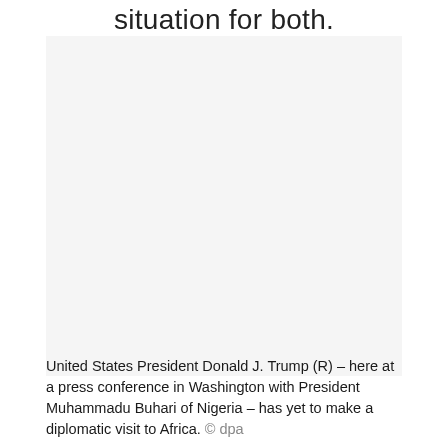situation for both.
[Figure (photo): Photo of United States President Donald J. Trump at a press conference in Washington with President Muhammadu Buhari of Nigeria (image area appears blank/white in this scan)]
United States President Donald J. Trump (R) – here at a press conference in Washington with President Muhammadu Buhari of Nigeria – has yet to make a diplomatic visit to Africa. © dpa